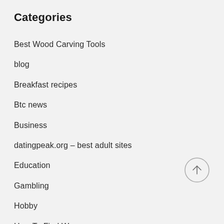Categories
Best Wood Carving Tools
blog
Breakfast recipes
Btc news
Business
datingpeak.org – best adult sites
Education
Gambling
Hobby
How To Find Women
https://colombianwomen.net/
https://top10-biggest-dating-sites.com/...